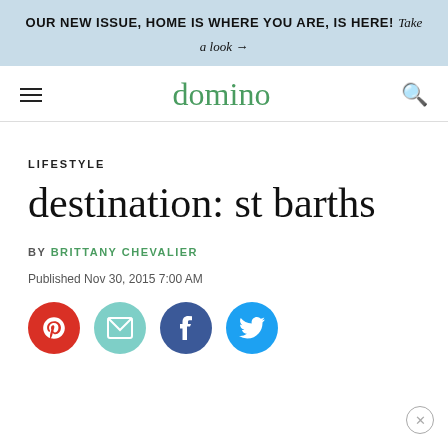OUR NEW ISSUE, HOME IS WHERE YOU ARE, IS HERE! Take a look →
domino
LIFESTYLE
destination: st barths
BY BRITTANY CHEVALIER
Published Nov 30, 2015 7:00 AM
[Figure (infographic): Social sharing icons: Pinterest (red circle), Email (teal circle), Facebook (dark blue circle), Twitter (light blue circle)]